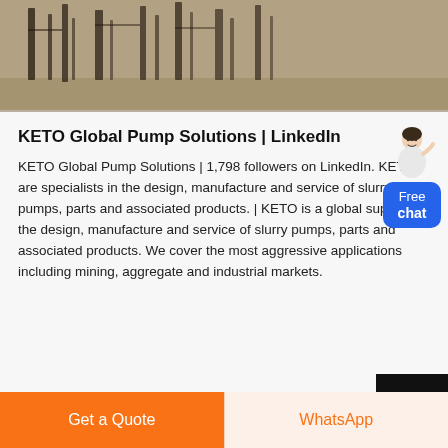[Figure (photo): Aerial or ground-level industrial site photo showing structural elements or machinery silhouettes against a sandy/earthy background]
KETO Global Pump Solutions | LinkedIn
KETO Global Pump Solutions | 1,798 followers on LinkedIn. KETO are specialists in the design, manufacture and service of slurry pumps, parts and associated products. | KETO is a global supplier in the design, manufacture and service of slurry pumps, parts and associated products. We cover the most aggressive applications including mining, aggregate and industrial markets.
Get a Quote
WhatsApp